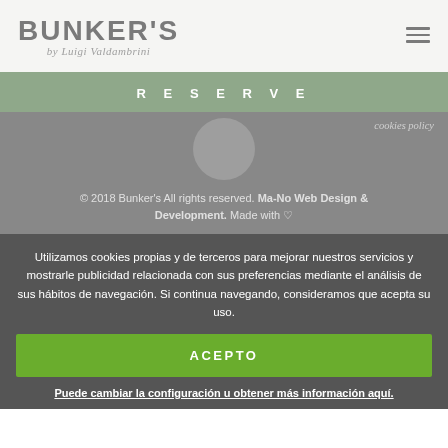[Figure (logo): BUNKER'S logo with tagline 'by Luigi Valdambrini' and hamburger menu icon]
RESERVE
[Figure (screenshot): Gray section with circular avatar, cookies policy link, and copyright notice: © 2018 Bunker's All rights reserved. Ma-No Web Design & Development. Made with ♡]
Utilizamos cookies propias y de terceros para mejorar nuestros servicios y mostrarle publicidad relacionada con sus preferencias mediante el análisis de sus hábitos de navegación. Si continua navegando, consideramos que acepta su uso.
ACEPTO
Puede cambiar la configuración u obtener más información aquí.